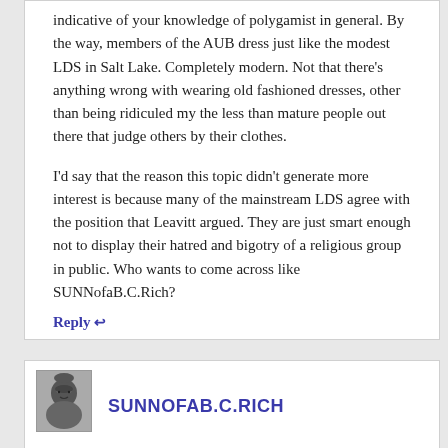indicative of your knowledge of polygamist in general. By the way, members of the AUB dress just like the modest LDS in Salt Lake. Completely modern. Not that there's anything wrong with wearing old fashioned dresses, other than being ridiculed my the less than mature people out there that judge others by their clothes.

I'd say that the reason this topic didn't generate more interest is because many of the mainstream LDS agree with the position that Leavitt argued. They are just smart enough not to display their hatred and bigotry of a religious group in public. Who wants to come across like SUNNofaB.C.Rich?
Reply ↩
SUNNOFAB.C.RICH